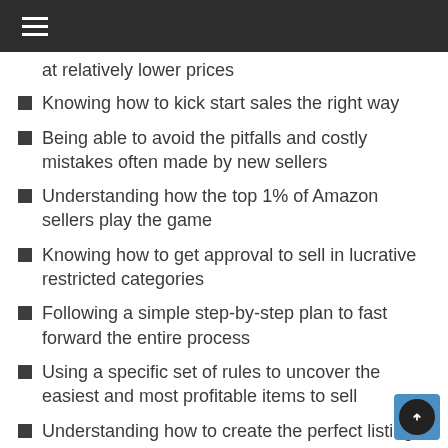☰
at relatively lower prices
Knowing how to kick start sales the right way
Being able to avoid the pitfalls and costly mistakes often made by new sellers
Understanding how the top 1% of Amazon sellers play the game
Knowing how to get approval to sell in lucrative restricted categories
Following a simple step-by-step plan to fast forward the entire process
Using a specific set of rules to uncover the easiest and most profitable items to sell
Understanding how to create the perfect listing on Amazon for high ranking
Being able to get stock and start selling even when on a very tight budget
Understanding how to use Amazon’s internal advertising feature
Taking advantage of advanced tactics to take